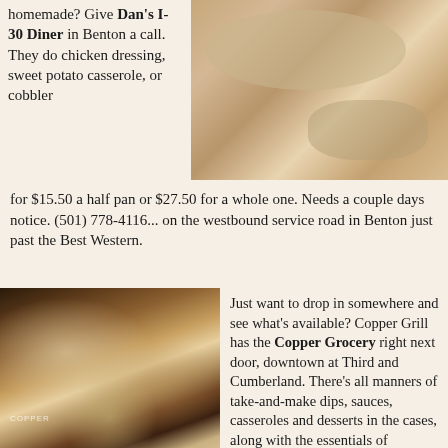homemade? Give Dan's I-30 Diner in Benton a call. They do chicken dressing, sweet potato casserole, or cobbler
[Figure (photo): Close-up photo of a creamy chicken dressing or casserole dish with a glossy sauce]
for $15.50 a half pan or $27.50 for a whole one. Needs a couple days notice. (501) 778-4116... on the westbound service road in Benton just past the Best Western.
[Figure (photo): Photo of packaged baked goods including sugar cookies in clear plastic bags at Copper Grocery store]
Just want to drop in somewhere and see what's available? Copper Grill has the Copper Grocery right next door, downtown at Third and Cumberland. There's all manners of take-and-make dips, sauces, casseroles and desserts in the cases, along with the essentials of downtown living. Their sugar cookies